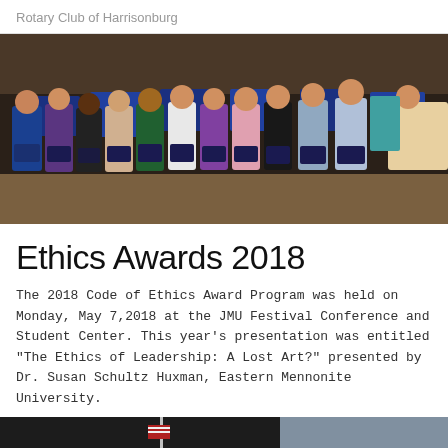Rotary Club of Harrisonburg
[Figure (photo): Group photo of students holding award plaques at the 2018 Ethics Awards ceremony at JMU Festival Conference and Student Center.]
Ethics Awards 2018
The 2018 Code of Ethics Award Program was held on Monday, May 7,2018 at the JMU Festival Conference and Student Center. This year's presentation was entitled "The Ethics of Leadership: A Lost Art?" presented by Dr. Susan Schultz Huxman, Eastern Mennonite University.
[Figure (photo): Photo from the awards event showing a flag and presentation screen in a darkened room.]